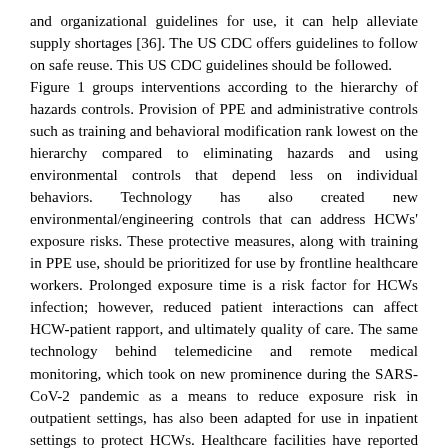and organizational guidelines for use, it can help alleviate supply shortages [36]. The US CDC offers guidelines to follow on safe reuse. This US CDC guidelines should be followed. Figure 1 groups interventions according to the hierarchy of hazards controls. Provision of PPE and administrative controls such as training and behavioral modification rank lowest on the hierarchy compared to eliminating hazards and using environmental controls that depend less on individual behaviors. Technology has also created new environmental/engineering controls that can address HCWs' exposure risks. These protective measures, along with training in PPE use, should be prioritized for use by frontline healthcare workers. Prolonged exposure time is a risk factor for HCWs infection; however, reduced patient interactions can affect HCW-patient rapport, and ultimately quality of care. The same technology behind telemedicine and remote medical monitoring, which took on new prominence during the SARS-CoV-2 pandemic as a means to reduce exposure risk in outpatient settings, has also been adapted for use in inpatient settings to protect HCWs. Healthcare facilities have reported using equipment such as baby monitors, iPads, and Google Nest cameras to allow HCWs to monitor and interact with patients remotely. In addition to decreasing exposure time, the use of this technology and telemedicine conserves PPE, predicted to have increased the number of future HCW